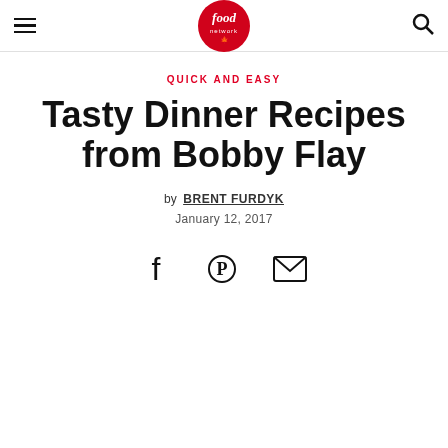Food Network Canada
QUICK AND EASY
Tasty Dinner Recipes from Bobby Flay
by BRENT FURDYK
January 12, 2017
[Figure (other): Social share icons: Facebook, Pinterest, Email]